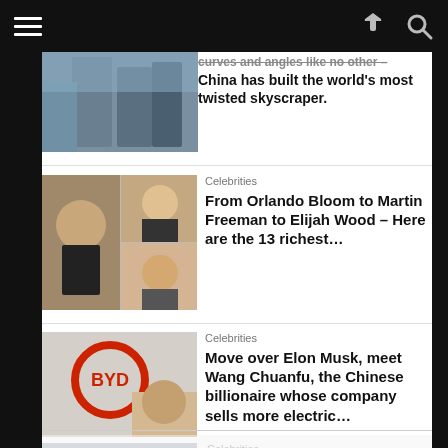[Navigation bar with hamburger menu, share icon, and search icon]
[Figure (photo): Partial view of a twisted skyscraper building]
curves and angles like no other – China has built the world's most twisted skyscraper.
[Figure (photo): Collage of celebrity faces including Andy Serkis, Elijah Wood, and others]
Celebrities
From Orlando Bloom to Martin Freeman to Elijah Wood – Here are the 13 richest...
[Figure (photo): BYD logo and a Chinese man with glasses]
Celebrities
Move over Elon Musk, meet Wang Chuanfu, the Chinese billionaire whose company sells more electric...
[Figure (photo): Partial photo of a jet-setting young person]
Celebrities
Is this jet-setting 22-year-old